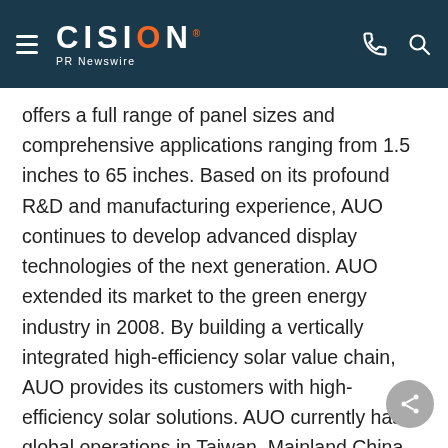CISION PR Newswire
offers a full range of panel sizes and comprehensive applications ranging from 1.5 inches to 65 inches. Based on its profound R&D and manufacturing experience, AUO continues to develop advanced display technologies of the next generation. AUO extended its market to the green energy industry in 2008. By building a vertically integrated high-efficiency solar value chain, AUO provides its customers with high-efficiency solar solutions. AUO currently has global operations in Taiwan, Mainland China, the U.S., Japan, South Korea, Singapore, the Netherlands, Czech and Slovakia. Additionally, AUO is the first pure TFT-LCD manufacturer to be successfully listed at the New York Stock Exchange (NYSE). AUO